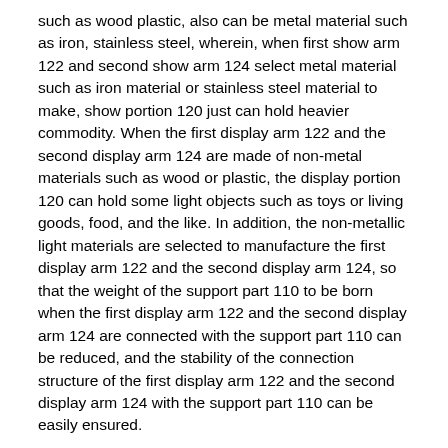such as wood plastic, also can be metal material such as iron, stainless steel, wherein, when first show arm 122 and second show arm 124 select metal material such as iron material or stainless steel material to make, show portion 120 just can hold heavier commodity. When the first display arm 122 and the second display arm 124 are made of non-metal materials such as wood or plastic, the display portion 120 can hold some light objects such as toys or living goods, food, and the like. In addition, the non-metallic light materials are selected to manufacture the first display arm 122 and the second display arm 124, so that the weight of the support part 110 to be born when the first display arm 122 and the second display arm 124 are connected with the support part 110 can be reduced, and the stability of the connection structure of the first display arm 122 and the second display arm 124 with the support part 110 can be easily ensured.
Example 8
As shown in fig. 6, the present embodiment provides a display device 100, and in addition to the technical features of any one of the above embodiments, the